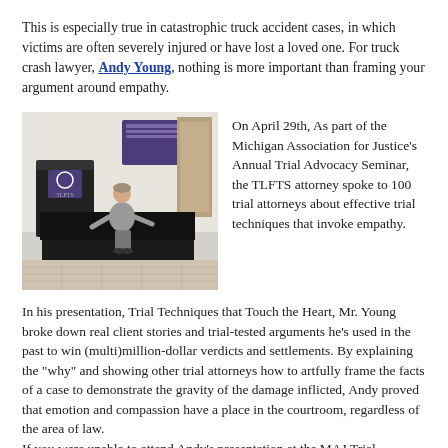This is especially true in catastrophic truck accident cases, in which victims are often severely injured or have lost a loved one. For truck crash lawyer, Andy Young, nothing is more important than framing your argument around empathy.
[Figure (photo): A man in a grey suit presenting at a seminar stage with a podium and backdrop visible behind him.]
On April 29th, As part of the Michigan Association for Justice's Annual Trial Advocacy Seminar, the TLFTS attorney spoke to 100 trial attorneys about effective trial techniques that invoke empathy.
In his presentation, Trial Techniques that Touch the Heart, Mr. Young broke down real client stories and trial-tested arguments he's used in the past to win (multi)million-dollar verdicts and settlements. By explaining the "why" and showing other trial attorneys how to artfully frame the facts of a case to demonstrate the gravity of the damage inflicted, Andy proved that emotion and compassion have a place in the courtroom, regardless of the area of law. If you were unable to attend Andy's presentation at the MAJ Trial Advocacy Seminar, visit The Law Firm for Truck Safety's event calendar to see his other upcoming 2022 speaking engagements.